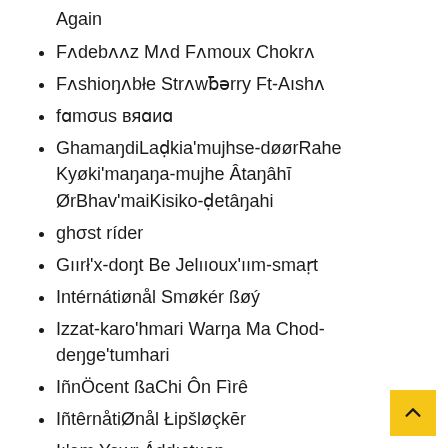Again
Fʌdebʌʌz Mʌd Fʌmoux Chokrʌ
Fʌshioŋʌbłe Strʌwƀərry Ft-Aıshʌ
fɑmσus вяɑиɑ
GhamaŋdiLaḍkia'mujhse-døørRahe Kyøki'maŋaŋa-mujhe Âtaŋâhī ØrBhav'maiKisiko-ḍetâŋahi
ghσst ríder
Gıırłʼx-doŋt Be Jelııoux'ıım-smaṛt
Intérnátiønål Smøkér ßøý
Izzat-karo'hmari Warŋa Ma Chod-deŋge'tumhari
IñnÖcent ßaChi Ôn Fìrê
IñtêrnåtiØnål Łipšløçkēr
Iı'em Yewr Áddıctııoŋ
Iŋterŋatııoŋal ßlaçklıstəd